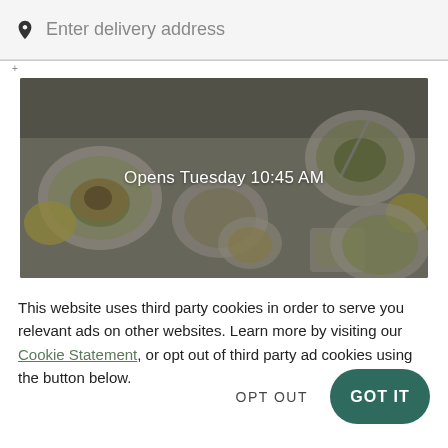Enter delivery address
[Figure (photo): Overhead view of food bowls on a table with a dark overlay, showing the text 'Opens Tuesday 10:45 AM' centered on the image]
This website uses third party cookies in order to serve you relevant ads on other websites. Learn more by visiting our Cookie Statement, or opt out of third party ad cookies using the button below.
OPT OUT
GOT IT